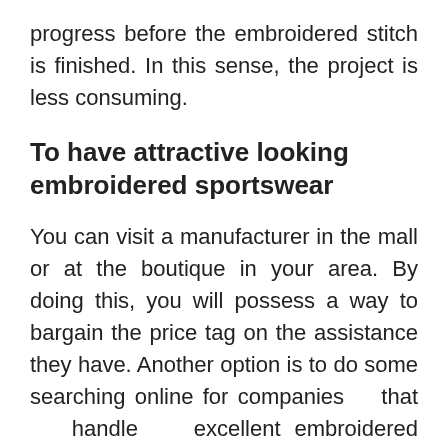progress before the embroidered stitch is finished. In this sense, the project is less consuming.
To have attractive looking embroidered sportswear
You can visit a manufacturer in the mall or at the boutique in your area. By doing this, you will possess a way to bargain the price tag on the assistance they have. Another option is to do some searching online for companies that handle excellent embroidered activewear. These companies